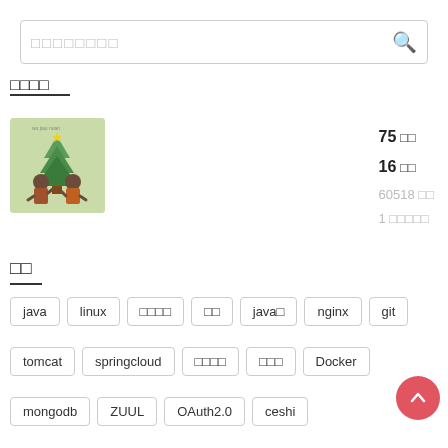□□□□□□□□ [search bar placeholder]
□□□□
[Figure (illustration): A light green illustrated image showing two children with round hair standing near a Christmas tree, text at top reads 'wo jiao nuan']
75 □□
16 □□
60518 □□
1 □□□□□
□□
java
linux
□□□□
□□
java□
nginx
git
tomcat
springcloud
□□□□
□□□
Docker
mongodb
ZUUL
OAuth2.0
ceshi